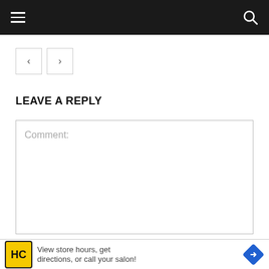Navigation bar with hamburger menu and search icon
[Figure (screenshot): Navigation arrow buttons: left arrow and right arrow, bordered boxes]
LEAVE A REPLY
Comment:
[Figure (screenshot): Overlay bar with chevron down, partial text showing OPEN 7AM-6PM, and close button]
[Figure (infographic): Ad banner: HC logo, text 'View store hours, get directions, or call your salon!', direction icon]